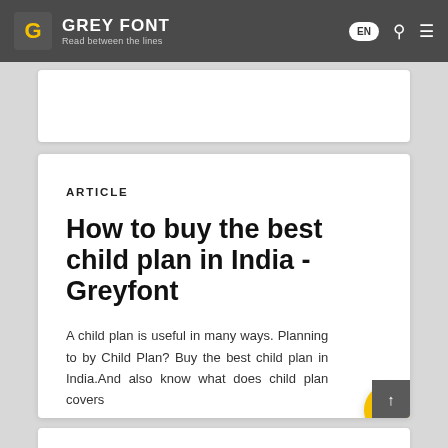GREY FONT — Read between the lines
ARTICLE
How to buy the best child plan in India - Greyfont
A child plan is useful in many ways. Planning to by Child Plan? Buy the best child plan in India.And also know what does child plan covers